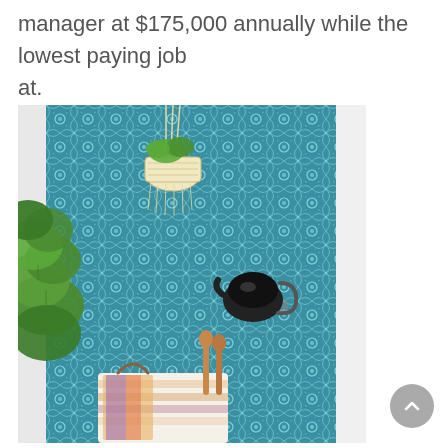manager at $175,000 annually while the lowest paying job at.
[Figure (photo): A teal/blue patterned tile wall with a hanging macramé plant holder containing a green leafy plant (fiddle leaf fig), a black and white kettle or pot on a shelf, and at the bottom a colorful patterned tote bag with wooden spoons sticking out, against a white background.]